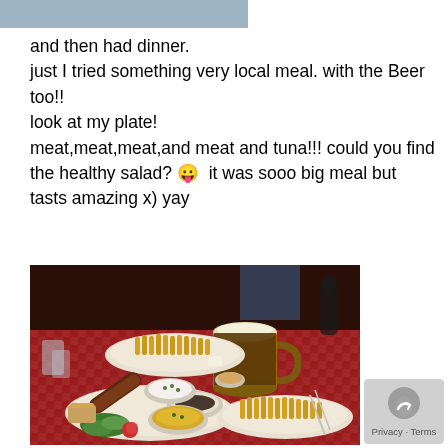[Figure (photo): Partial top crop of a photo, grayish-blue tones, likely top of a previous image]
and then had dinner.
just I tried something very local meal. with the Beer too!!
look at my plate!
meat,meat,meat,and meat and tuna!!! could you find the healthy salad? 😛  it was sooo big meal but tasts amazing x) yay
[Figure (photo): Restaurant table with multiple plates of food including french fries, sausage, various meats, side dishes, a large beer mug, and sauces on a red checkered tablecloth]